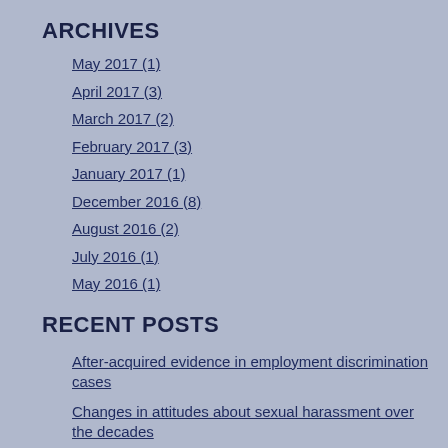ARCHIVES
May 2017 (1)
April 2017 (3)
March 2017 (2)
February 2017 (3)
January 2017 (1)
December 2016 (8)
August 2016 (2)
July 2016 (1)
May 2016 (1)
RECENT POSTS
After-acquired evidence in employment discrimination cases
Changes in attitudes about sexual harassment over the decades
Case over pension plans goes to U.S. Supreme Court
Older workers may face age discrimination from employers